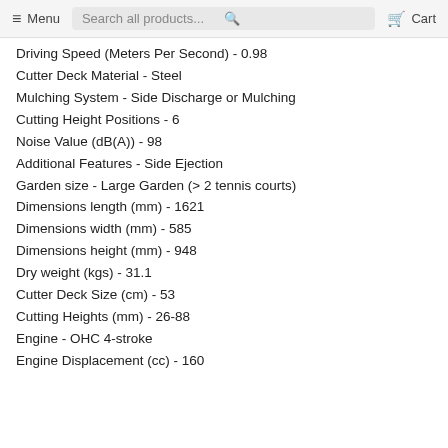Menu | Search all products... | Cart
Driving Speed (Meters Per Second) - 0.98
Cutter Deck Material - Steel
Mulching System - Side Discharge or Mulching
Cutting Height Positions - 6
Noise Value (dB(A)) - 98
Additional Features - Side Ejection
Garden size - Large Garden (> 2 tennis courts)
Dimensions length (mm) - 1621
Dimensions width (mm) - 585
Dimensions height (mm) - 948
Dry weight (kgs) - 31.1
Cutter Deck Size (cm) - 53
Cutting Heights (mm) - 26-88
Engine - OHC 4-stroke
Engine Displacement (cc) - 160